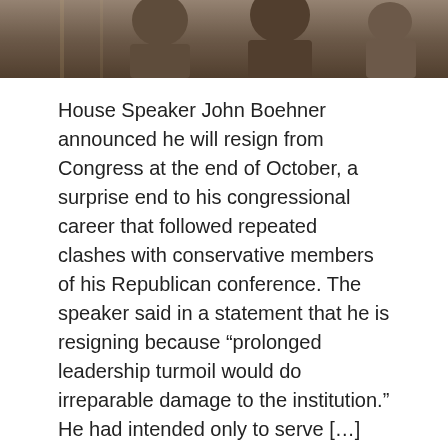[Figure (photo): Photograph of House Speaker John Boehner with other officials, partially cropped at the top of the page]
House Speaker John Boehner announced he will resign from Congress at the end of October, a surprise end to his congressional career that followed repeated clashes with conservative members of his Republican conference. The speaker said in a statement that he is resigning because “Prolonged leadership turmoil would do irreparable damage to the institution.” He had intended only to serve […]
READ MORE
Articles
IRAN PROMISES TO VIOLATE NUKE DEAL -